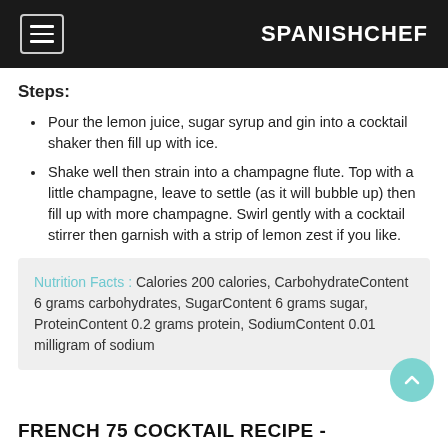SPANISHCHEF
Steps:
Pour the lemon juice, sugar syrup and gin into a cocktail shaker then fill up with ice.
Shake well then strain into a champagne flute. Top with a little champagne, leave to settle (as it will bubble up) then fill up with more champagne. Swirl gently with a cocktail stirrer then garnish with a strip of lemon zest if you like.
Nutrition Facts : Calories 200 calories, CarbohydrateContent 6 grams carbohydrates, SugarContent 6 grams sugar, ProteinContent 0.2 grams protein, SodiumContent 0.01 milligram of sodium
FRENCH 75 COCKTAIL RECIPE -